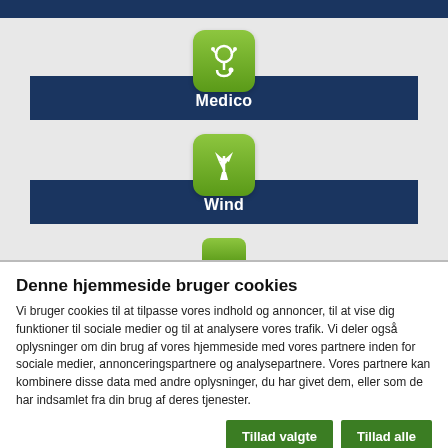[Figure (screenshot): Website navigation showing Medico section with stethoscope icon on dark blue banner]
[Figure (screenshot): Website navigation showing Wind section with wind turbine icon on dark blue banner]
Denne hjemmeside bruger cookies
Vi bruger cookies til at tilpasse vores indhold og annoncer, til at vise dig funktioner til sociale medier og til at analysere vores trafik. Vi deler også oplysninger om din brug af vores hjemmeside med vores partnere inden for sociale medier, annonceringspartnere og analysepartnere. Vores partnere kan kombinere disse data med andre oplysninger, du har givet dem, eller som de har indsamlet fra din brug af deres tjenester.
Tillad valgte | Tillad alle
Nødvendig  Præferencer  Statistik  Marketing  Vis detaljer